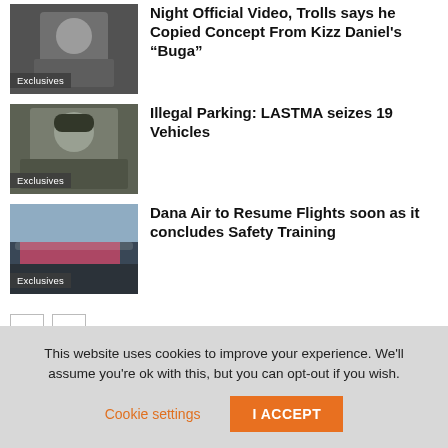[Figure (photo): Person photo thumbnail with 'Exclusives' badge]
Night  Official Video, Trolls says he Copied Concept From Kizz Daniel's “Buga”
[Figure (photo): Person in military uniform photo thumbnail with 'Exclusives' badge]
Illegal Parking: LASTMA seizes 19 Vehicles
[Figure (photo): Dana Air airplane photo thumbnail with 'Exclusives' badge]
Dana Air to Resume Flights soon as it concludes Safety Training
This website uses cookies to improve your experience. We'll assume you're ok with this, but you can opt-out if you wish.
Cookie settings
I ACCEPT